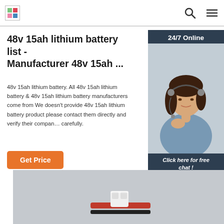48v 15ah lithium battery list - Manufacturer 48v 15ah ...
48v 15ah lithium battery list - Manufacturer 48v 15ah ...
48v 15ah lithium battery. All 48v 15ah lithium battery & 48v 15ah lithium battery manufacturers come from We doesn't provide 48v 15ah lithium battery product please contact them directly and verify their company carefully.
[Figure (photo): Customer service representative with headset, 24/7 Online chat widget with QUOTATION button]
[Figure (photo): Product image of a battery connector/cable on gray background]